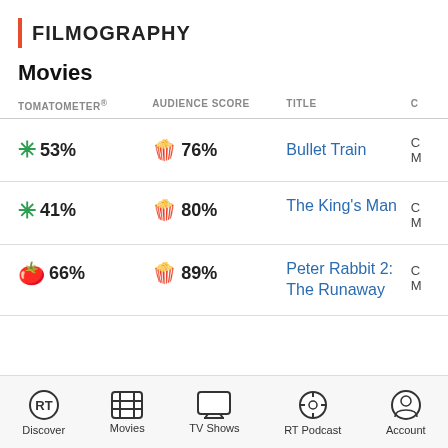FILMOGRAPHY
Movies
| TOMATOMETER® | AUDIENCE SCORE | TITLE |  |
| --- | --- | --- | --- |
| 53% | 76% | Bullet Train |  |
| 41% | 80% | The King's Man |  |
| 66% | 89% | Peter Rabbit 2: The Runaway |  |
Discover | Movies | TV Shows | RT Podcast | Account